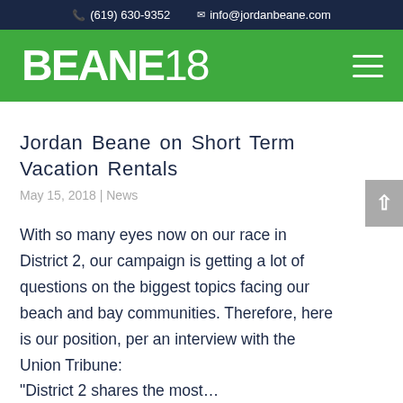(619) 630-9352   info@jordanbeane.com
[Figure (logo): BEANE18 campaign logo in white text on green background with hamburger menu icon]
Jordan Beane on Short Term Vacation Rentals
May 15, 2018 | News
With so many eyes now on our race in District 2, our campaign is getting a lot of questions on the biggest topics facing our beach and bay communities. Therefore, here is our position, per an interview with the Union Tribune: "District 2 shares the most...